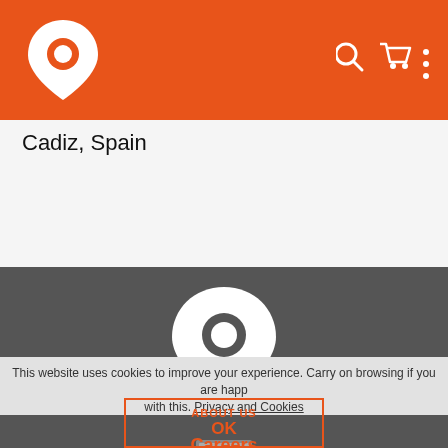Navigation header with location pin logo, search icon, cart icon, and menu icon
Cadiz, Spain
[Figure (map): Dark grey map area with a white location pin marker in the center, and an ARKER ER España Registrada badge/logo in the lower center]
This website uses cookies to improve your experience. Carry on browsing if you are happy with this. Privacy and Cookies
ABOUT US
OK
Careers